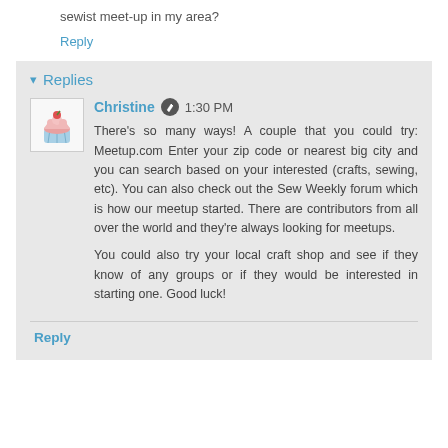sewist meet-up in my area?
Reply
Replies
Christine  1:30 PM
There's so many ways! A couple that you could try: Meetup.com Enter your zip code or nearest big city and you can search based on your interested (crafts, sewing, etc). You can also check out the Sew Weekly forum which is how our meetup started. There are contributors from all over the world and they're always looking for meetups.
You could also try your local craft shop and see if they know of any groups or if they would be interested in starting one. Good luck!
Reply